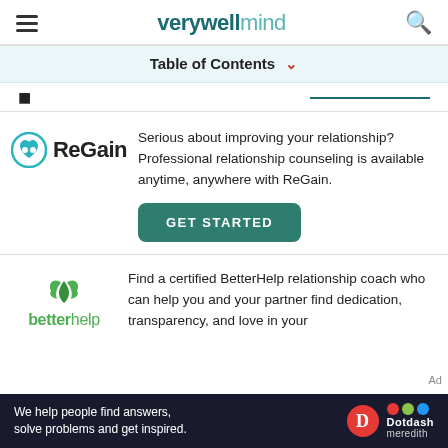verywell mind
Table of Contents
[Figure (logo): ReGain logo with heart icon]
Serious about improving your relationship? Professional relationship counseling is available anytime, anywhere with ReGain.
[Figure (other): GET STARTED button]
[Figure (logo): BetterHelp logo with leaf icon]
Find a certified BetterHelp relationship coach who can help you and your partner find dedication, transparency, and love in your
We help people find answers, solve problems and get inspired. Dotdash meredith